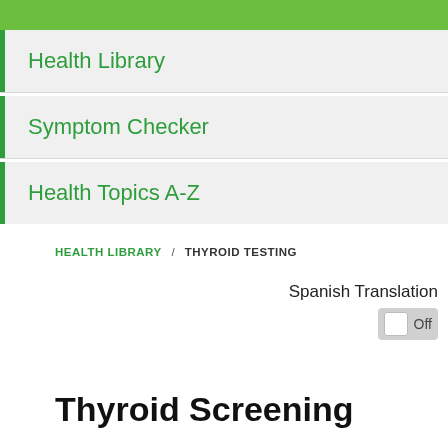Health Library
Symptom Checker
Health Topics A-Z
HEALTH LIBRARY / THYROID TESTING
Spanish Translation Off
Thyroid Screening